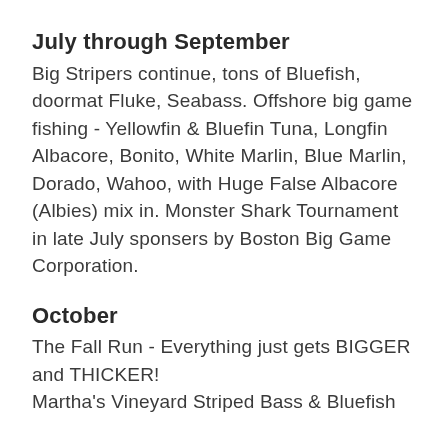July through September
Big Stripers continue, tons of Bluefish, doormat Fluke, Seabass. Offshore big game fishing - Yellowfin & Bluefin Tuna, Longfin Albacore, Bonito, White Marlin, Blue Marlin, Dorado, Wahoo, with Huge False Albacore (Albies) mix in. Monster Shark Tournament in late July sponsers by Boston Big Game Corporation.
October
The Fall Run - Everything just gets BIGGER and THICKER!
Martha's Vineyard Striped Bass & Bluefish